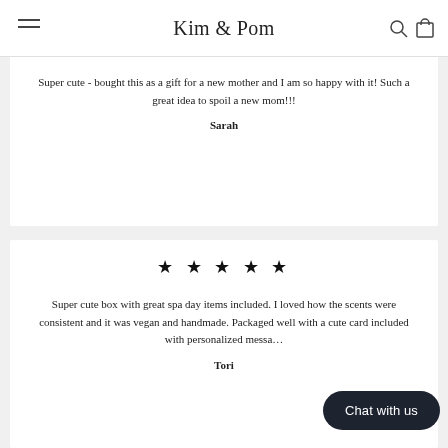Kim & Pom
Super cute - bought this as a gift for a new mother and I am so happy with it! Such a great idea to spoil a new mom!!!
Sarah
★ ★ ★ ★ ★
Super cute box with great spa day items included. I loved how the scents were consistent and it was vegan and handmade. Packaged well with a cute card included with personalized messa…
Tori
Chat with us